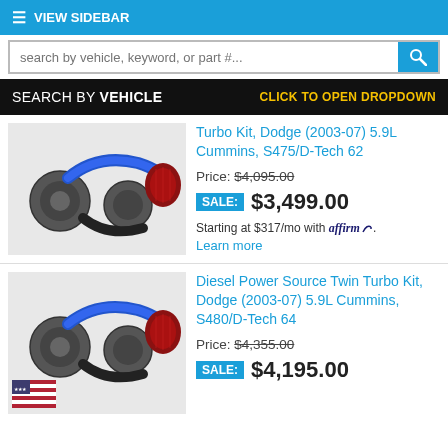☰ VIEW SIDEBAR
search by vehicle, keyword, or part #...
SEARCH BY VEHICLE   CLICK TO OPEN DROPDOWN
[Figure (photo): Turbo kit product photo showing twin turbo assembly with blue intake pipe and red air filter]
Turbo Kit, Dodge (2003-07) 5.9L Cummins, S475/D-Tech 62
Price: $4,095.00
SALE: $3,499.00
Starting at $317/mo with Affirm. Learn more
[Figure (photo): Diesel Power Source twin turbo kit product photo with blue intake pipe, red air filter, and US flag sticker]
Diesel Power Source Twin Turbo Kit, Dodge (2003-07) 5.9L Cummins, S480/D-Tech 64
Price: $4,355.00
SALE: $4,195.00